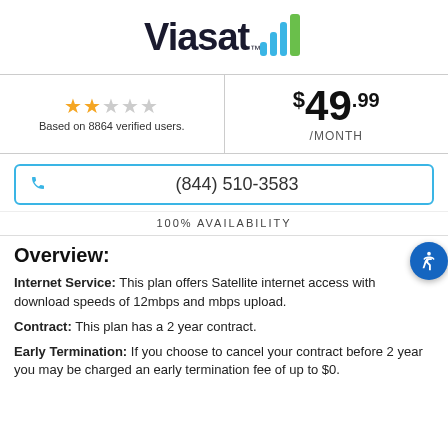[Figure (logo): Viasat logo with stylized teal and green signal wave graphic]
★★☆☆☆
Based on 8864 verified users.
$49.99 /MONTH
(844) 510-3583
100% AVAILABILITY
Overview:
Internet Service: This plan offers Satellite internet access with download speeds of 12mbps and mbps upload.
Contract: This plan has a 2 year contract.
Early Termination: If you choose to cancel your contract before 2 year you may be charged an early termination fee of up to $0.